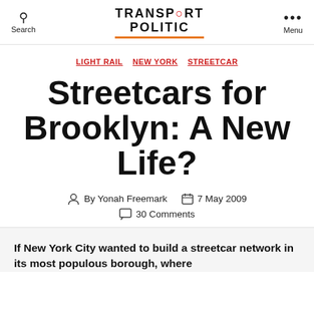Search | TRANSPORT POLITIC | Menu
LIGHT RAIL  NEW YORK  STREETCAR
Streetcars for Brooklyn: A New Life?
By Yonah Freemark   7 May 2009   30 Comments
If New York City wanted to build a streetcar network in its most populous borough, where